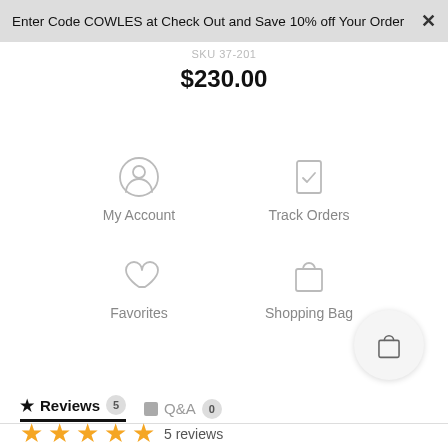Enter Code COWLES at Check Out and Save 10% off Your Order ×
SKU 37-201
$230.00
[Figure (infographic): Navigation icons grid: My Account (person icon), Track Orders (document with checkmark icon), Favorites (heart icon), Shopping Bag (bag icon)]
[Figure (infographic): Floating circular shopping bag button]
Reviews 5   Q&A 0
5 reviews